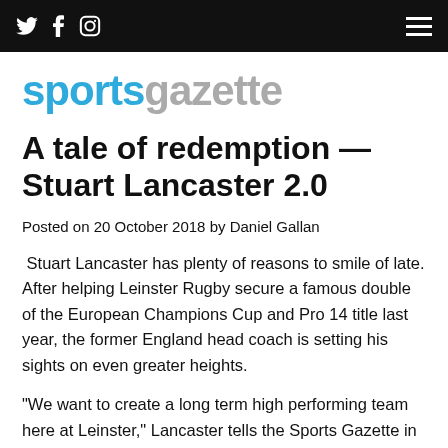sportsgazette — Twitter, Facebook, Instagram social icons and hamburger menu
sportsgazette
A tale of redemption — Stuart Lancaster 2.0
Posted on 20 October 2018 by Daniel Gallan
Stuart Lancaster has plenty of reasons to smile of late. After helping Leinster Rugby secure a famous double of the European Champions Cup and Pro 14 title last year, the former England head coach is setting his sights on even greater heights.
“We want to create a long term high performing team here at Leinster,” Lancaster tells the Sports Gazette in